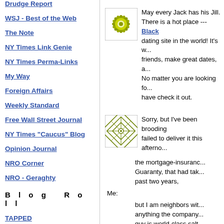Drudge Report
WSJ - Best of the Web
The Note
NY Times Link Genie
NY Times Perma-Links
My Way
Foreign Affairs
Weekly Standard
Free Wall Street Journal
NY Times "Caucus" Blog
Opinion Journal
NRO Corner
NRO - Geraghty
B l o g   R o l l
TAPPED
Bob "The Man" Musil
Brothers Judd
Luskin Conspiracy
[Figure (illustration): Green/yellow decorative flower/sunburst pattern icon]
May every Jack has his Jill. There is a hot place ---Black dating site in the world! It's w... friends, make great dates, a... No matter you are looking fo... have check it out.
[Figure (illustration): Green decorative grid/lattice pattern icon]
Sorry, but I've been brooding failed to deliver it this afterno... the mortgage-insuranc... Guaranty, that had tak... past two years,
Me:
but I am neighbors wit... anything the company... guy is world-class salt... house we're at now w...